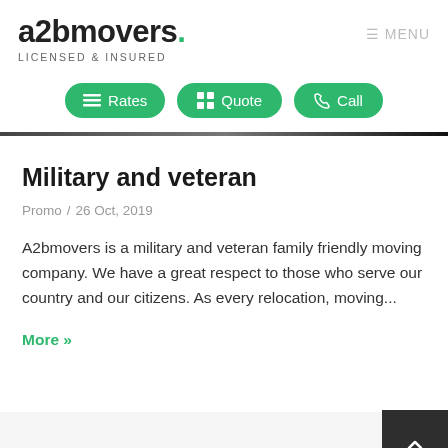a2bmovers. LICENSED & INSURED
[Figure (screenshot): Navigation buttons: Rates, Quote, Call (green rounded buttons)]
Military and veteran
Promo / 26 Oct, 2019
A2bmovers is a military and veteran family friendly moving company. We have a great respect to those who serve our country and our citizens. As every relocation, moving...
More »